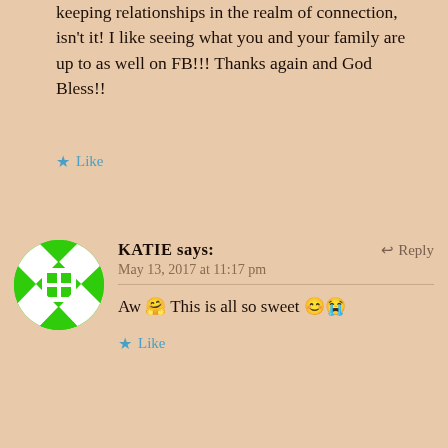keeping relationships in the realm of connection, isn't it! I like seeing what you and your family are up to as well on FB!!! Thanks again and God Bless!!
★ Like
[Figure (illustration): Green and white diamond/checkerboard pattern circular avatar for user Katie]
KATIE says: ↩ Reply
May 13, 2017 at 11:17 pm
Aw 🤗 This is all so sweet 😊😭
★ Like